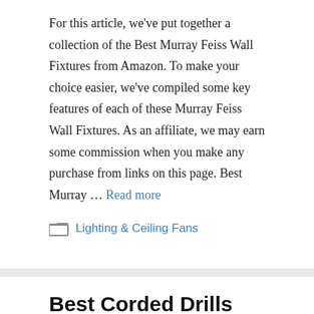For this article, we've put together a collection of the Best Murray Feiss Wall Fixtures from Amazon. To make your choice easier, we've compiled some key features of each of these Murray Feiss Wall Fixtures. As an affiliate, we may earn some commission when you make any purchase from links on this page. Best Murray … Read more
Lighting & Ceiling Fans
Best Corded Drills
August 26, 2022 by Jeff Jenkins